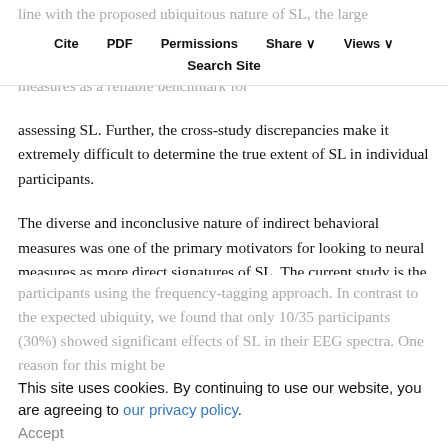line with the proposed ubiquitous nature of SL, the large variability across behavioral studies (in methods and results) makes it difficult to wholeheartedly accept these implicit measures as a reliable benchmark for
Cite   PDF   Permissions   Share ∨   Views ∨
Search Site
assessing SL. Further, the cross-study discrepancies make it extremely difficult to determine the true extent of SL in individual participants.
The diverse and inconclusive nature of indirect behavioral measures was one of the primary motivators for looking to neural measures as more direct signatures of SL. The current study is the first to assess the robustness of neural SL measures in individual
participants using the frequency-tagging approach. In contrast to the expected ubiquity, we found that only 10/35 participants (30%) showed significant effects of SL in their EEG spectra. One reason for this might be
This site uses cookies. By continuing to use our website, you are agreeing to our privacy policy.
Accept